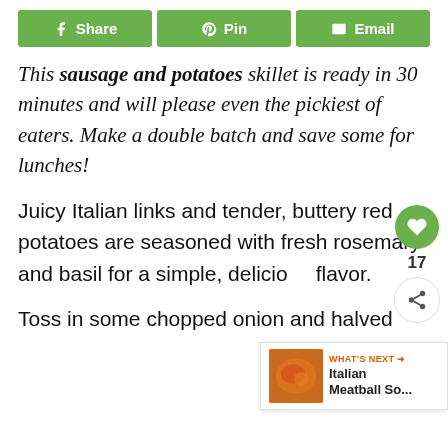[Figure (other): Social share buttons: Share (Facebook), Pin (Pinterest), Email]
This sausage and potatoes skillet is ready in 30 minutes and will please even the pickiest of eaters. Make a double batch and save some for lunches!
Juicy Italian links and tender, buttery red potatoes are seasoned with fresh rosemary and basil for a simple, delicious flavor.
Toss in some chopped onion and halved